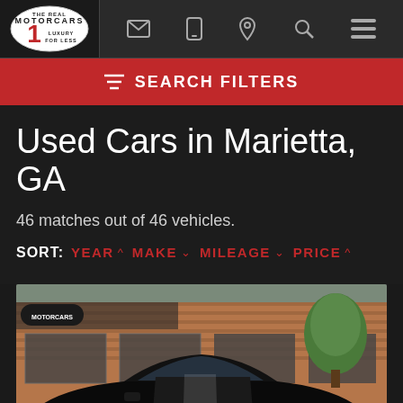[Figure (screenshot): Website navigation bar with Motorcars1 logo, email icon, phone icon, location pin icon, search icon, and hamburger menu icon on dark background]
[Figure (screenshot): Red search filters bar with filter icon and text SEARCH FILTERS]
Used Cars in Marietta, GA
46 matches out of 46 vehicles.
SORT: YEAR ^ MAKE v MILEAGE v PRICE ^
[Figure (photo): Black sports car (Porsche) parked in front of a brick commercial building with glass windows and trees in background]